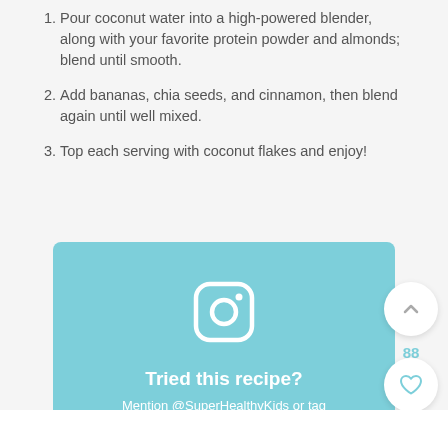Pour coconut water into a high-powered blender, along with your favorite protein powder and almonds; blend until smooth.
Add bananas, chia seeds, and cinnamon, then blend again until well mixed.
Top each serving with coconut flakes and enjoy!
[Figure (infographic): Teal box with Instagram icon and text: Tried this recipe? Mention @SuperHealthyKids or tag #SuperHealthyKids!]